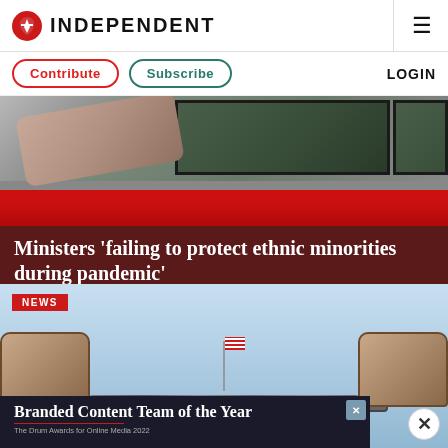INDEPENDENT
Contribute | Subscribe | LOGIN
[Figure (photo): Photograph of a person's arm near a red bus window, with a red horizontal stripe visible]
Ministers 'failing to protect ethnic minorities during pandemic'
[Figure (photo): NEWS tag overlay on photo of two handcuffed fists connected by a chain against a blue sky with an American flag in the background]
Branded Content Team of the Year
The Drum Awards for Online Media 2022